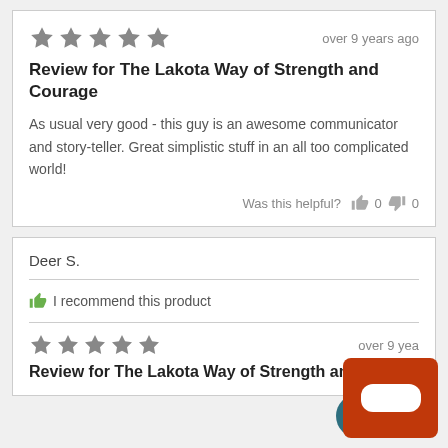[Figure (other): 5-star rating (grey stars)]
over 9 years ago
Review for The Lakota Way of Strength and Courage
As usual very good - this guy is an awesome communicator and story-teller. Great simplistic stuff in an all too complicated world!
Was this helpful? 0 0
Deer S.
I recommend this product
[Figure (other): 5-star rating (grey stars)]
over 9 years ago
Review for The Lakota Way of Strength and